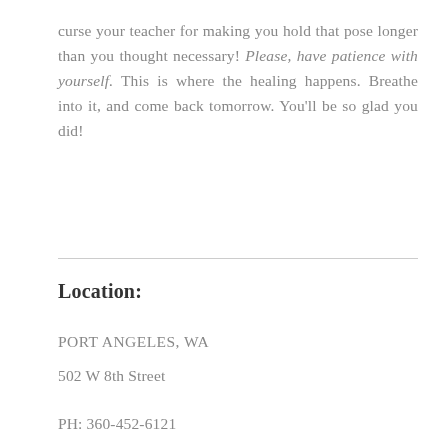curse your teacher for making you hold that pose longer than you thought necessary! Please, have patience with yourself. This is where the healing happens. Breathe into it, and come back tomorrow. You'll be so glad you did!
Location:
PORT ANGELES, WA
502 W 8th Street
PH: 360-452-6121